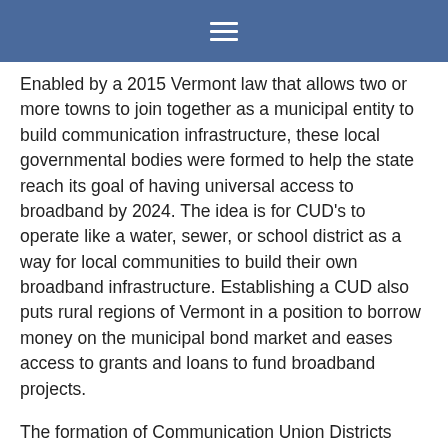≡
Enabled by a 2015 Vermont law that allows two or more towns to join together as a municipal entity to build communication infrastructure, these local governmental bodies were formed to help the state reach its goal of having universal access to broadband by 2024. The idea is for CUD's to operate like a water, sewer, or school district as a way for local communities to build their own broadband infrastructure. Establishing a CUD also puts rural regions of Vermont in a position to borrow money on the municipal bond market and eases access to grants and loans to fund broadband projects.
The formation of Communication Union Districts across the state began to pick up steam in the months following Gov. Phil Scott's signing of H.513 in June of 2019. That legislation, which set aside $1.5 million to support broadband projects